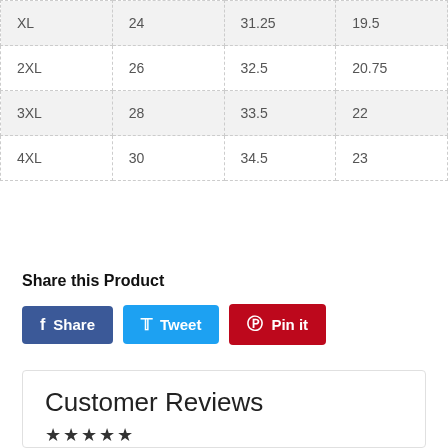| XL | 24 | 31.25 | 19.5 |
| 2XL | 26 | 32.5 | 20.75 |
| 3XL | 28 | 33.5 | 22 |
| 4XL | 30 | 34.5 | 23 |
Share this Product
Share | Tweet | Pin it
Customer Reviews